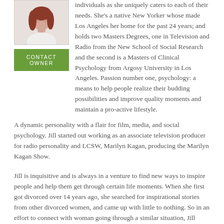[Figure (photo): Portrait photo of a woman with red/auburn hair against a light background]
CONTACT OWNER
individuals as she uniquely caters to each of their needs. She's a native New Yorker whose made Los Angeles her home for the past 24 years; and holds two Masters Degrees, one in Television and Radio from the New School of Social Research and the second is a Masters of Clinical Psychology from Argosy University in Los Angeles. Passion number one, psychology: a means to help people realize their budding possibilities and improve quality moments and maintain a pro-active lifestyle.
A dynamic personality with a flair for film, media, and social psychology. Jill started out working as an associate television producer for radio personality and LCSW, Marilyn Kagan, producing the Marilyn Kagan Show.
Jill is inquisitive and is always in a venture to find new ways to inspire people and help them get through certain life moments. When she first got divorced over 14 years ago, she searched for inspirational stories from other divorced women, and came up with little to nothing. So in an effort to connect with woman going through a similar situation, Jill started her own column called